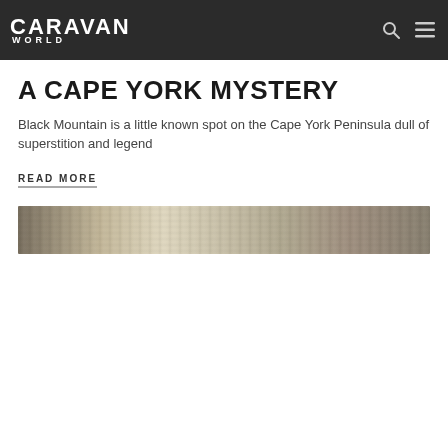CARAVAN WORLD
A CAPE YORK MYSTERY
Black Mountain is a little known spot on the Cape York Peninsula dull of superstition and legend
READ MORE
[Figure (photo): Outdoor rocky/vegetated landscape photo strip, Cape York region]